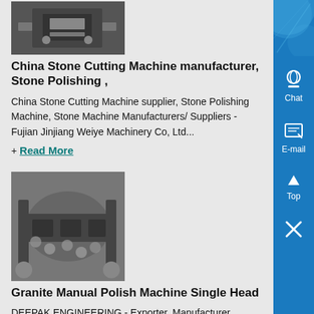[Figure (photo): Product image of a stone cutting/polishing machine, dark background with equipment visible]
China Stone Cutting Machine manufacturer, Stone Polishing ,
China Stone Cutting Machine supplier, Stone Polishing Machine, Stone Machine Manufacturers/ Suppliers - Fujian Jinjiang Weiye Machinery Co, Ltd...
+ Read More
[Figure (photo): Photo of granite manual polishing machine in an industrial setting, single head machine shown]
Granite Manual Polish Machine Single Head
DEEPAK ENGINEERING - Exporter, Manufacturer, Supplier, Tra... Company of Granite Manual Polish Machine Single Head based... Jalore, India...
+ Read More